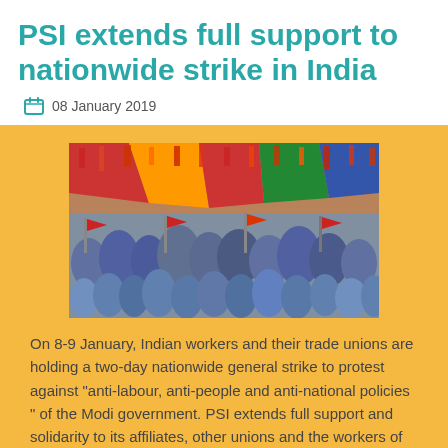PSI extends full support to nationwide strike in India
08 January 2019
[Figure (photo): Large gathering of Indian workers and trade union members under a colorful canopy with red and other colored flags at a strike rally.]
On 8-9 January, Indian workers and their trade unions are holding a two-day nationwide general strike to protest against "anti-labour, anti-people and anti-national policies " of the Modi government. PSI extends full support and solidarity to its affiliates, other unions and the workers of India participating in the strike action.